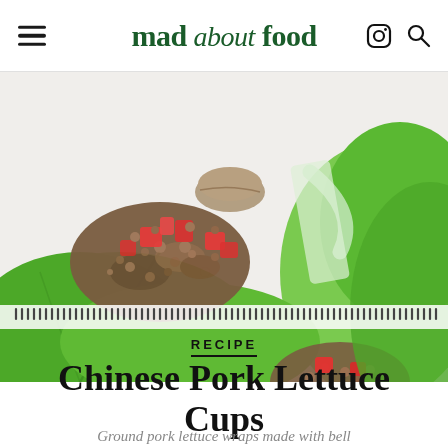mad about food
[Figure (photo): Close-up photo of Chinese pork lettuce cups filled with ground pork, red bell pepper, and mushrooms, served on bright green lettuce leaves on a marble surface]
RECIPE
Chinese Pork Lettuce Cups
Ground pork lettuce wraps made with bell